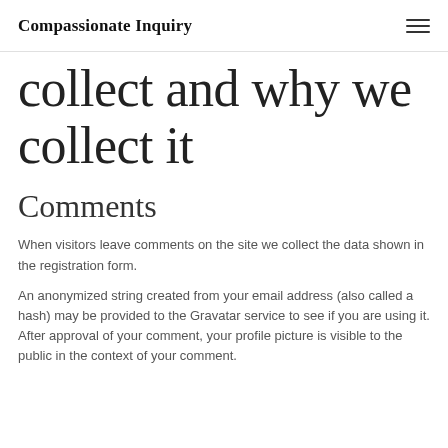Compassionate Inquiry
collect and why we collect it
Comments
When visitors leave comments on the site we collect the data shown in the registration form.
An anonymized string created from your email address (also called a hash) may be provided to the Gravatar service to see if you are using it. After approval of your comment, your profile picture is visible to the public in the context of your comment.